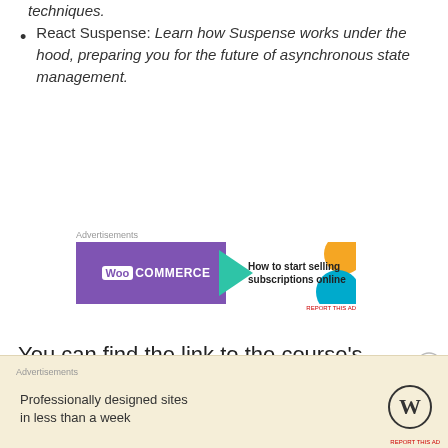techniques.
React Suspense: Learn how Suspense works under the hood, preparing you for the future of asynchronous state management.
[Figure (infographic): WooCommerce advertisement banner: purple background with WooCommerce logo on left, teal arrow shape in middle, text 'How to start selling subscriptions online' on right with orange and blue decorative shapes.]
You can find the link to the course’s material right here.
[Figure (infographic): WordPress advertisement: beige background with text 'Professionally designed sites in less than a week' and WordPress logo on right.]